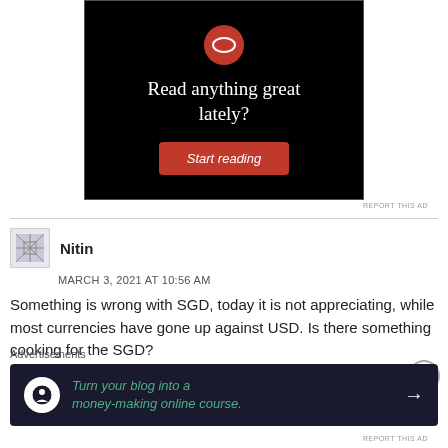[Figure (screenshot): Black advertisement banner with white serif text 'Read anything great lately?' and a red 'Start reading' button]
REPORT THIS AD
Nitin
MARCH 3, 2021 AT 10:56 AM
Something is wrong with SGD, today it is not appreciating, while most currencies have gone up against USD. Is there something cooking for the SGD?
Advertisements
[Figure (screenshot): Dark blue advertisement banner: 'Turn your blog into a money-making online course.' with arrow]